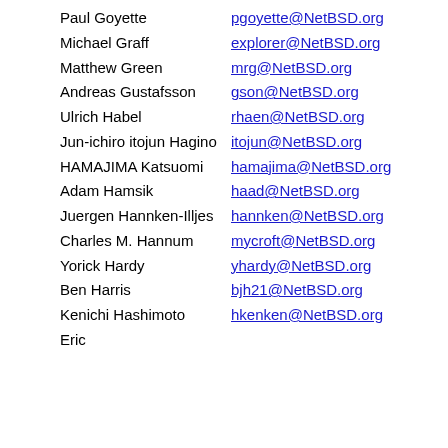| Name | Email |
| --- | --- |
| Paul Goyette | pgoyette@NetBSD.org |
| Michael Graff | explorer@NetBSD.org |
| Matthew Green | mrg@NetBSD.org |
| Andreas Gustafsson | gson@NetBSD.org |
| Ulrich Habel | rhaen@NetBSD.org |
| Jun-ichiro itojun Hagino | itojun@NetBSD.org |
| HAMAJIMA Katsuomi | hamajima@NetBSD.org |
| Adam Hamsik | haad@NetBSD.org |
| Juergen Hannken-Illjes | hannken@NetBSD.org |
| Charles M. Hannum | mycroft@NetBSD.org |
| Yorick Hardy | yhardy@NetBSD.org |
| Ben Harris | bjh21@NetBSD.org |
| Kenichi Hashimoto | hkenken@NetBSD.org |
| Eric |  |